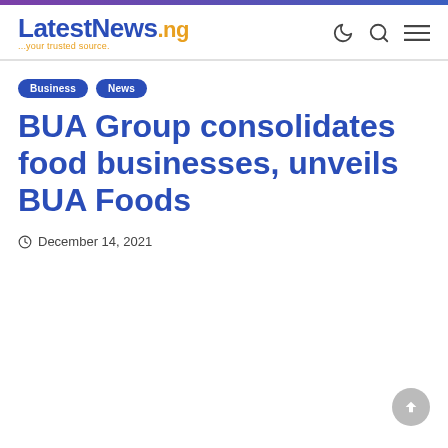LatestNews.ng ...your trusted source.
Business
News
BUA Group consolidates food businesses, unveils BUA Foods
December 14, 2021